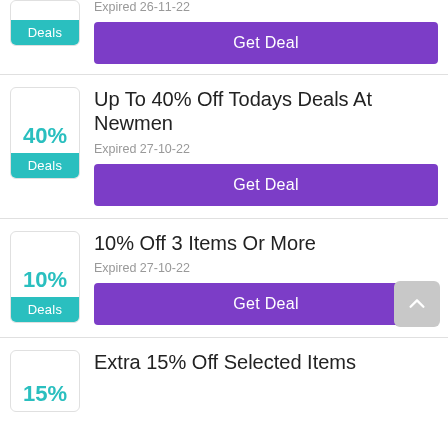[Figure (other): Partial deal card at top: teal Deals badge, expired date 26-11-22, Get Deal purple button]
Up To 40% Off Todays Deals At Newmen
Expired 27-10-22
Get Deal
10% Off 3 Items Or More
Expired 27-10-22
Get Deal
Extra 15% Off Selected Items